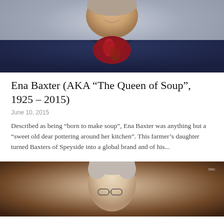[Figure (photo): Portrait photo of Ena Baxter, an elderly woman smiling, wearing a navy jacket and red/patterned scarf, grey background]
Ena Baxter (AKA “The Queen of Soup”, 1925 – 2015)
June 10, 2015
Described as being “born to make soup”, Ena Baxter was anything but a “sweet old dear pottering around her kitchen”. This farmer’s daughter turned Baxters of Speyside into a global brand and of his...
[Figure (photo): Close-up video still or photograph of Ena Baxter wearing glasses, warm/amber toned image, partial face visible, small logo text in top right corner]